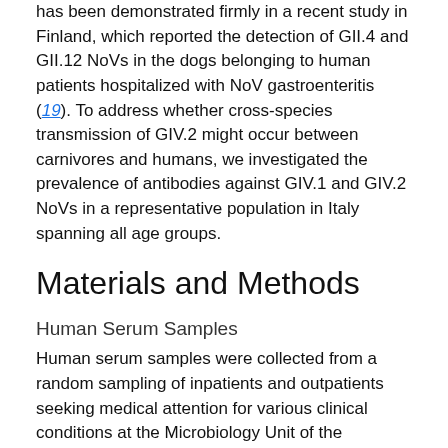has been demonstrated firmly in a recent study in Finland, which reported the detection of GII.4 and GII.12 NoVs in the dogs belonging to human patients hospitalized with NoV gastroenteritis (19). To address whether cross-species transmission of GIV.2 might occur between carnivores and humans, we investigated the prevalence of antibodies against GIV.1 and GIV.2 NoVs in a representative population in Italy spanning all age groups.
Materials and Methods
Human Serum Samples
Human serum samples were collected from a random sampling of inpatients and outpatients seeking medical attention for various clinical conditions at the Microbiology Unit of the University